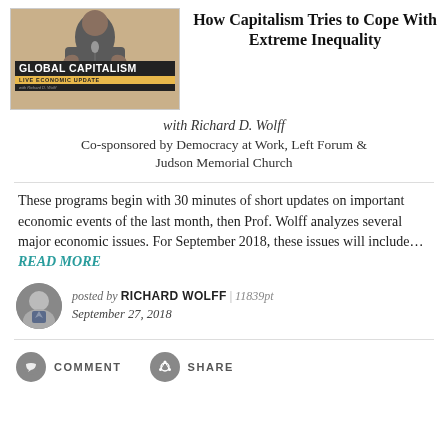[Figure (screenshot): Video thumbnail showing a man speaking at a podium with a GLOBAL CAPITALISM LIVE ECONOMIC UPDATE banner]
How Capitalism Tries to Cope With Extreme Inequality
with Richard D. Wolff
Co-sponsored by Democracy at Work, Left Forum & Judson Memorial Church
These programs begin with 30 minutes of short updates on important economic events of the last month, then Prof. Wolff analyzes several major economic issues. For September 2018, these issues will include...READ MORE
posted by RICHARD WOLFF | 11839pt
September 27, 2018
COMMENT   SHARE